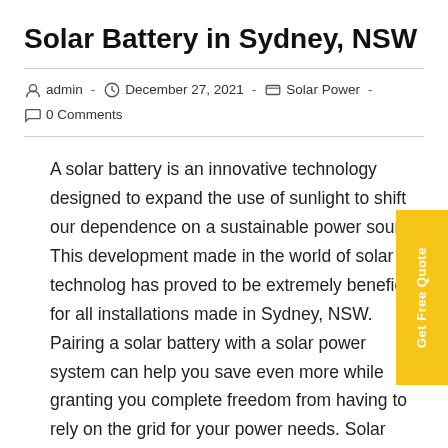Solar Battery in Sydney, NSW
admin  -  December 27, 2021  -  Solar Power  -  0 Comments
A solar battery is an innovative technology designed to expand the use of sunlight to shift our dependence on a sustainable power source. This development made in the world of solar technology has proved to be extremely beneficial for all installations made in Sydney, NSW. Pairing a solar battery with a solar power system can help you save even more while granting you complete freedom from having to rely on the grid for your power needs. Solar batteries store all the excess